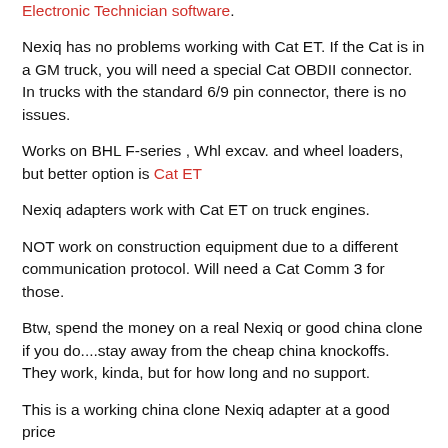Electronic Technician software.
Nexiq has no problems working with Cat ET. If the Cat is in a GM truck, you will need a special Cat OBDII connector. In trucks with the standard 6/9 pin connector, there is no issues.
Works on BHL F-series , Whl excav. and wheel loaders, but better option is Cat ET
Nexiq adapters work with Cat ET on truck engines.
NOT work on construction equipment due to a different communication protocol. Will need a Cat Comm 3 for those.
Btw, spend the money on a real Nexiq or good china clone if you do....stay away from the cheap china knockoffs. They work, kinda, but for how long and no support.
This is a working china clone Nexiq adapter at a good price
Here are Nexiq USB Link adapter and CAT ET connection